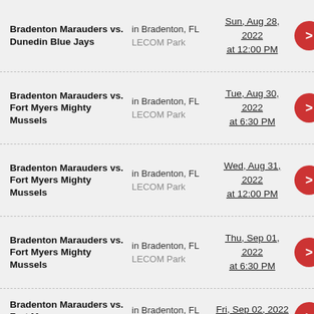Bradenton Marauders vs. Dunedin Blue Jays | in Bradenton, FL | LECOM Park | Sun, Aug 28, 2022 at 12:00 PM
Bradenton Marauders vs. Fort Myers Mighty Mussels | in Bradenton, FL | LECOM Park | Tue, Aug 30, 2022 at 6:30 PM
Bradenton Marauders vs. Fort Myers Mighty Mussels | in Bradenton, FL | LECOM Park | Wed, Aug 31, 2022 at 12:00 PM
Bradenton Marauders vs. Fort Myers Mighty Mussels | in Bradenton, FL | LECOM Park | Thu, Sep 01, 2022 at 6:30 PM
Bradenton Marauders vs. Fort Myers Mighty Mussels | in Bradenton, FL | LECOM Park | Fri, Sep 02, 2022 at 6:30 PM